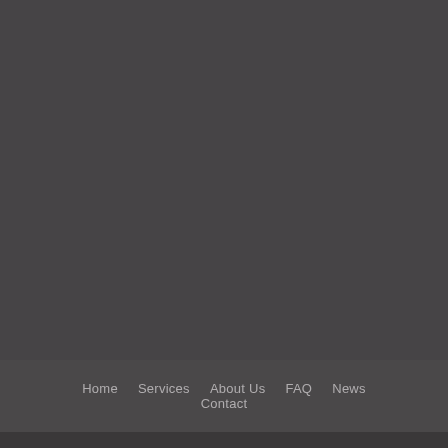Home   Services   About Us   FAQ   News   Contact